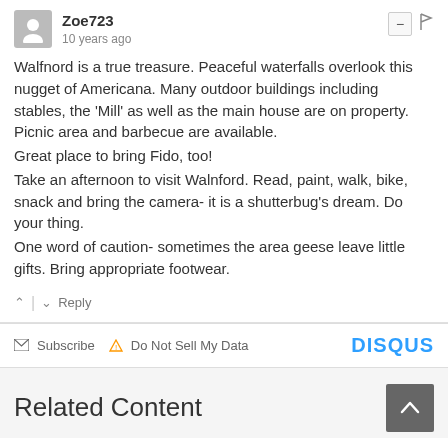Zoe723 · 10 years ago
Walfnord is a true treasure. Peaceful waterfalls overlook this nugget of Americana. Many outdoor buildings including stables, the 'Mill' as well as the main house are on property. Picnic area and barbecue are available.
Great place to bring Fido, too!
Take an afternoon to visit Walnford. Read, paint, walk, bike, snack and bring the camera- it is a shutterbug's dream. Do your thing.
One word of caution- sometimes the area geese leave little gifts. Bring appropriate footwear.
^ | v  Reply
✉ Subscribe  ⚠ Do Not Sell My Data   DISQUS
Related Content